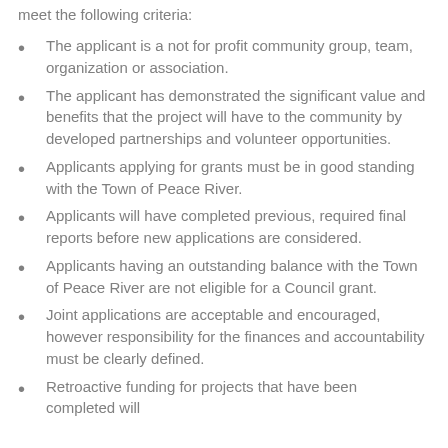meet the following criteria:
The applicant is a not for profit community group, team, organization or association.
The applicant has demonstrated the significant value and benefits that the project will have to the community by developed partnerships and volunteer opportunities.
Applicants applying for grants must be in good standing with the Town of Peace River.
Applicants will have completed previous, required final reports before new applications are considered.
Applicants having an outstanding balance with the Town of Peace River are not eligible for a Council grant.
Joint applications are acceptable and encouraged, however responsibility for the finances and accountability must be clearly defined.
Retroactive funding for projects that have been completed will